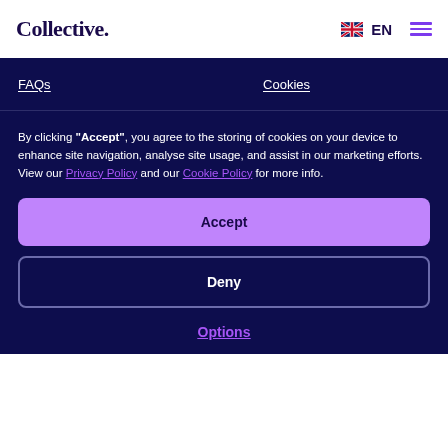Collective.
FAQs
Cookies
By clicking "Accept", you agree to the storing of cookies on your device to enhance site navigation, analyse site usage, and assist in our marketing efforts. View our Privacy Policy and our Cookie Policy for more info.
Accept
Deny
Options